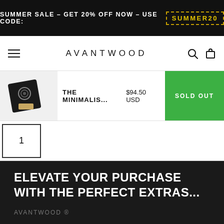SUMMER SALE – GET 20% OFF NOW – USE CODE: SUMMER20
AVANTWOOD
THE MINIMALIS...  $94.50 USD  SOLD OUT
1
ELEVATE YOUR PURCHASE WITH THE PERFECT EXTRAS...
AVANTWOOD ®